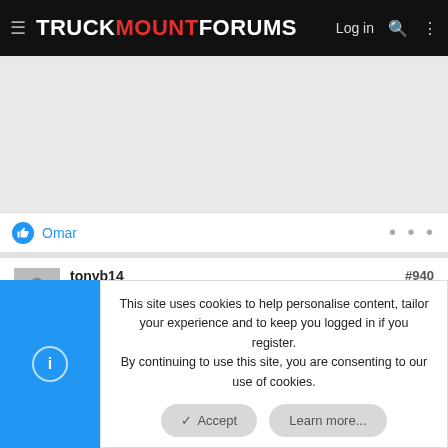TRUCKMOUNTFORUMS — Log in
Omar
tonyb14
Well-Known Member
#940
Sep 23, 2015
This site uses cookies to help personalise content, tailor your experience and to keep you logged in if you register.
By continuing to use this site, you are consenting to our use of cookies.